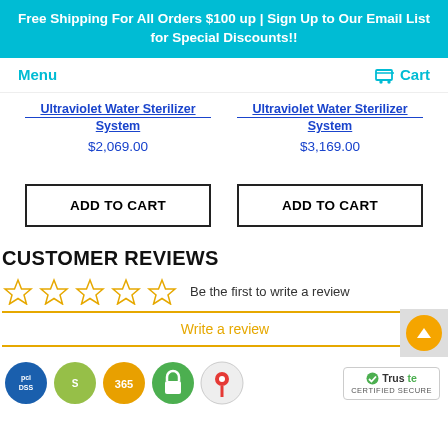Free Shipping For All Orders $100 up | Sign Up to Our Email List for Special Discounts!!
Menu
Cart
Ultraviolet Water Sterilizer System
$2,069.00
Ultraviolet Water Sterilizer System
$3,169.00
ADD TO CART
ADD TO CART
CUSTOMER REVIEWS
Be the first to write a review
Write a review
[Figure (infographic): Footer trust badges: PCI, Shopify, 365, secure lock, Google Maps icon, TrustedSite certified secure badge]